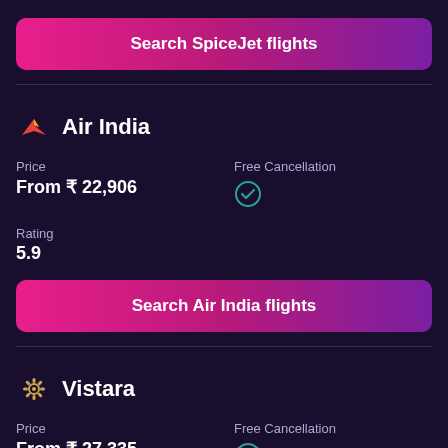[Figure (other): Search SpiceJet flights button - gradient pink to purple rounded rectangle]
Air India
Price
From ₹ 22,906
Free Cancellation ✓
Rating
5.9
[Figure (other): Search Air India flights button - gradient pink to purple rounded rectangle]
Vistara
Price
From ₹ 27,335
Free Cancellation ✓
Rating
8.3